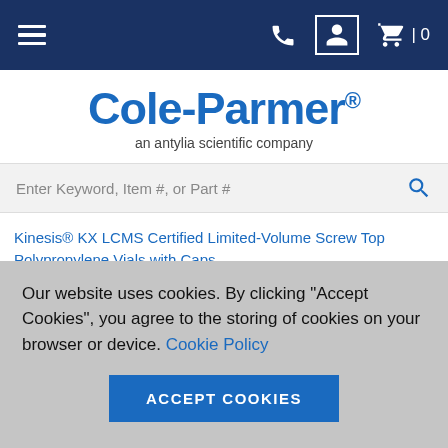Cole-Parmer navigation bar with hamburger menu, phone, account, and cart icons
Cole-Parmer® an antylia scientific company
Enter Keyword, Item #, or Part #
Kinesis® KX LCMS Certified Limited-Volume Screw Top Polypropylene Vials with Caps
Our website uses cookies. By clicking "Accept Cookies", you agree to the storing of cookies on your browser or device. Cookie Policy
ACCEPT COOKIES